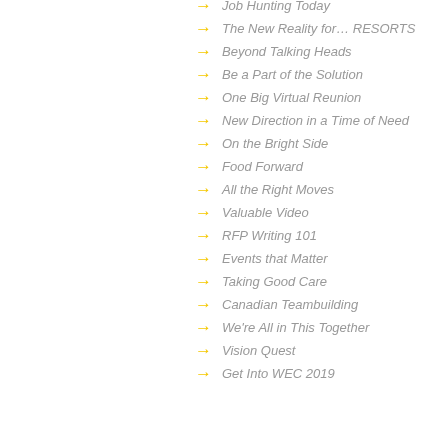Job Hunting Today
The New Reality for… RESORTS
Beyond Talking Heads
Be a Part of the Solution
One Big Virtual Reunion
New Direction in a Time of Need
On the Bright Side
Food Forward
All the Right Moves
Valuable Video
RFP Writing 101
Events that Matter
Taking Good Care
Canadian Teambuilding
We're All in This Together
Vision Quest
Get Into WEC 2019